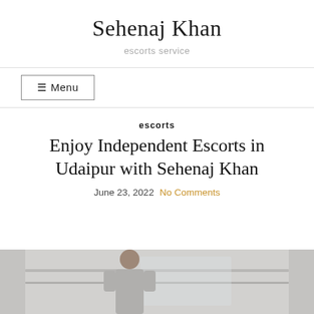Sehenaj Khan
escorts service
☰ Menu
escorts
Enjoy Independent Escorts in Udaipur with Sehenaj Khan
June 23, 2022  No Comments
[Figure (photo): Photo of a woman in a grey outfit, appears to be in an indoor public space with railings visible in the background.]